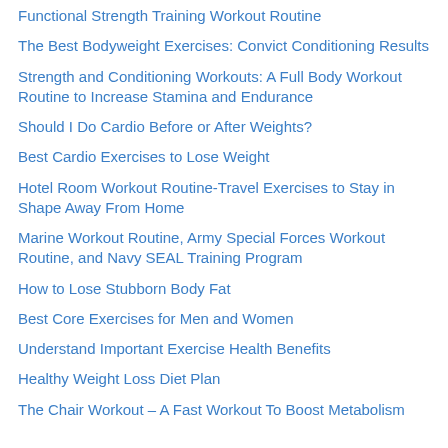Functional Strength Training Workout Routine
The Best Bodyweight Exercises: Convict Conditioning Results
Strength and Conditioning Workouts: A Full Body Workout Routine to Increase Stamina and Endurance
Should I Do Cardio Before or After Weights?
Best Cardio Exercises to Lose Weight
Hotel Room Workout Routine-Travel Exercises to Stay in Shape Away From Home
Marine Workout Routine, Army Special Forces Workout Routine, and Navy SEAL Training Program
How to Lose Stubborn Body Fat
Best Core Exercises for Men and Women
Understand Important Exercise Health Benefits
Healthy Weight Loss Diet Plan
The Chair Workout – A Fast Workout To Boost Metabolism